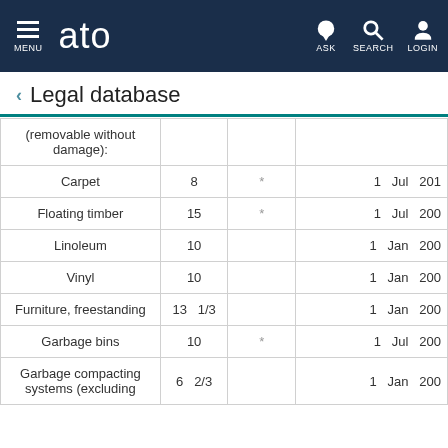ATO - Legal database - MENU | ASK | SEARCH | LOGIN
Legal database
| Asset | Years |  | Date |
| --- | --- | --- | --- |
| (removable without damage): |  |  |  |
| Carpet | 8 | * | 1   Jul   201 |
| Floating timber | 15 | * | 1   Jul   200 |
| Linoleum | 10 |  | 1   Jan   200 |
| Vinyl | 10 |  | 1   Jan   200 |
| Furniture, freestanding | 13   1/3 |  | 1   Jan   200 |
| Garbage bins | 10 | * | 1   Jul   200 |
| Garbage compacting systems (excluding ... | 6   2/3 |  | 1   Jan   200 |